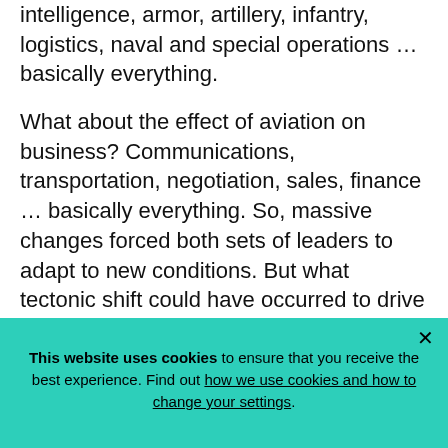intelligence, armor, artillery, infantry, logistics, naval and special operations … basically everything.
What about the effect of aviation on business? Communications, transportation, negotiation, sales, finance … basically everything. So, massive changes forced both sets of leaders to adapt to new conditions. But what tectonic shift could have occurred to drive military and product leaders to new innovation in the last decade?
A Focus on People
This website uses cookies to ensure that you receive the best experience. Find out how we use cookies and how to change your settings.